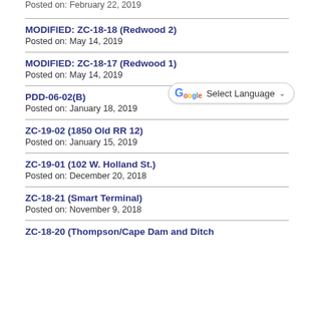Posted on: February 22, 2019
MODIFIED: ZC-18-18 (Redwood 2)
Posted on: May 14, 2019
MODIFIED: ZC-18-17 (Redwood 1)
Posted on: May 14, 2019
PDD-06-02(B)
Posted on: January 18, 2019
ZC-19-02 (1850 Old RR 12)
Posted on: January 15, 2019
ZC-19-01 (102 W. Holland St.)
Posted on: December 20, 2018
ZC-18-21 (Smart Terminal)
Posted on: November 9, 2018
ZC-18-20 (Thompson/Cape Dam and Ditch